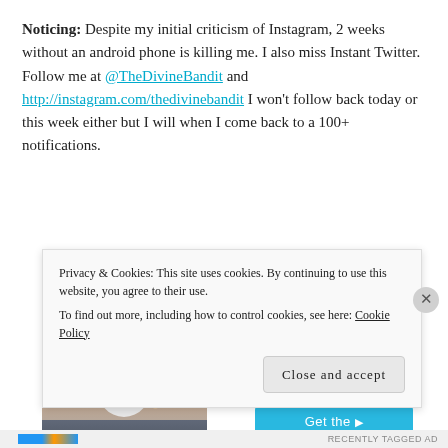Noticing: Despite my initial criticism of Instagram, 2 weeks without an android phone is killing me. I also miss Instant Twitter. Follow me at @TheDivineBandit and http://instagram.com/thedivinebandi‌t I won't follow back today or this week either but I will when I come back to a 100+ notifications.
[Figure (photo): A person seen from behind, taking a photo with a phone, against a sunset sky background]
Over 150,000 5-star reviews ★★★★★
Privacy & Cookies: This site uses cookies. By continuing to use this website, you agree to their use. To find out more, including how to control cookies, see here: Cookie Policy
Close and accept